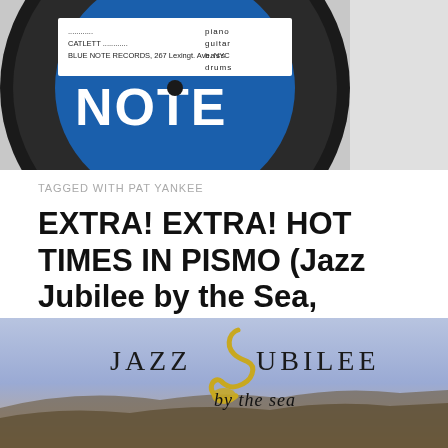[Figure (photo): Close-up photo of a Blue Note Records vinyl record label showing 'NOTE' text in white on blue background, with text listing musicians and Blue Note Records address at 267 Lexington Ave. NYC]
TAGGED WITH PAT YANKEE
EXTRA! EXTRA! HOT TIMES IN PISMO (Jazz Jubilee by the Sea, October 25-18, 2018)
[Figure (logo): Jazz Jubilee by the Sea logo with stylized saxophone forming the J in Jubilee, set against a twilight coastal landscape background]